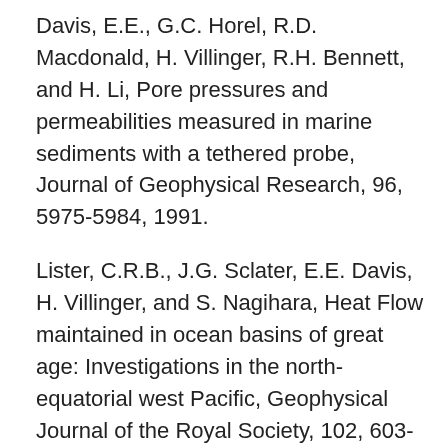Davis, E.E., G.C. Horel, R.D. Macdonald, H. Villinger, R.H. Bennett, and H. Li, Pore pressures and permeabilities measured in marine sediments with a tethered probe, Journal of Geophysical Research, 96, 5975-5984, 1991.
Lister, C.R.B., J.G. Sclater, E.E. Davis, H. Villinger, and S. Nagihara, Heat Flow maintained in ocean basins of great age: Investigations in the north-equatorial west Pacific, Geophysical Journal of the Royal Society, 102, 603-630, 1990.
R.D. Hyndman, C.J. Yorath, Davis, E.E., and